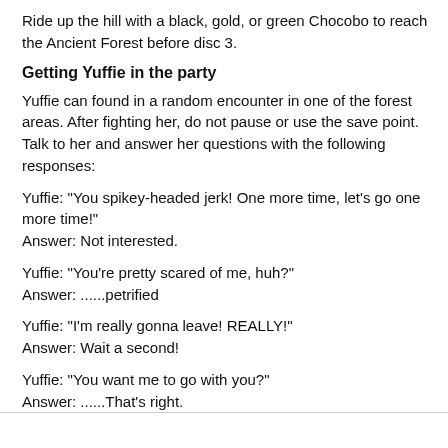Ride up the hill with a black, gold, or green Chocobo to reach the Ancient Forest before disc 3.
Getting Yuffie in the party
Yuffie can found in a random encounter in one of the forest areas. After fighting her, do not pause or use the save point. Talk to her and answer her questions with the following responses:
Yuffie: "You spikey-headed jerk! One more time, let's go one more time!"
Answer: Not interested.
Yuffie: "You're pretty scared of me, huh?"
Answer: ......petrified
Yuffie: "I'm really gonna leave! REALLY!"
Answer: Wait a second!
Yuffie: "You want me to go with you?"
Answer: ......That's right.